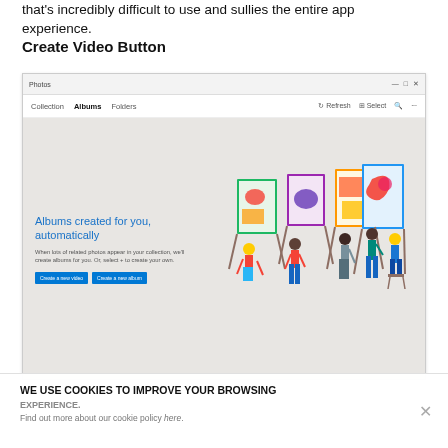that's incredibly difficult to use and sullies the entire app experience.
Create Video Button
[Figure (screenshot): Screenshot of Windows Photos app showing Albums tab with 'Albums created for you, automatically' heading, description text, 'Create a new video' and 'Create a new album' buttons, and illustration of people painting]
WE USE COOKIES TO IMPROVE YOUR BROWSING EXPERIENCE.
Find out more about our cookie policy here.